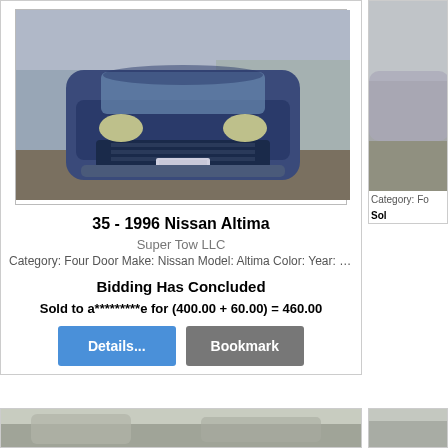[Figure (photo): Front view of a blue 1996 Nissan Altima in a salvage/tow yard, with other damaged vehicles visible in the background]
35 - 1996 Nissan Altima
Super Tow LLC
Category: Four Door Make: Nissan Model: Altima Color: Year: 1996 VIN...
Bidding Has Concluded
Sold to a*********e for (400.00 + 60.00) = 460.00
[Figure (other): Details... button (blue)]
[Figure (other): Bookmark button (gray)]
[Figure (photo): Partial view of another vehicle listing image at the bottom of the page]
Category: Fo...
Sol...